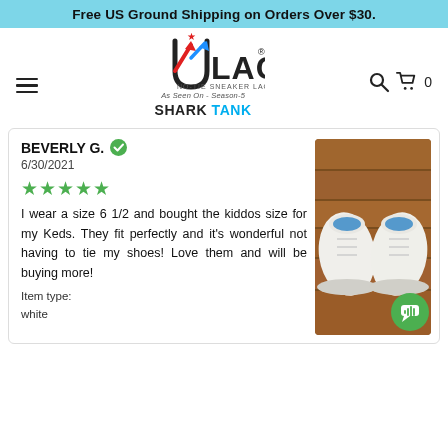Free US Ground Shipping on Orders Over $30.
[Figure (logo): ULACE No-Tie Sneaker Laces logo with hamburger menu, search icon, cart icon (0 items), and Shark Tank Season 5 badge]
BEVERLY G. ✓ verified
6/30/2021
★★★★★
I wear a size 6 1/2 and bought the kiddos size for my Keds. They fit perfectly and it's wonderful not having to tie my shoes!  Love them and will be buying more!
Item type:
white
[Figure (photo): Photo of white Keds sneakers with ULACE no-tie laces on a wood floor background]